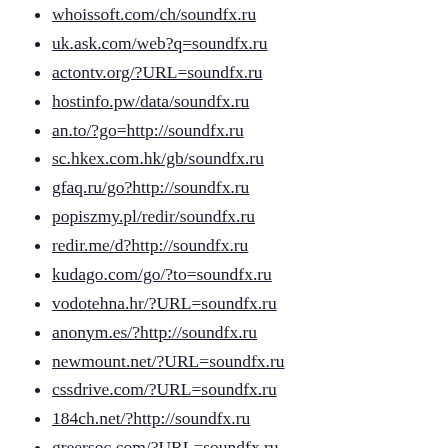whoissoft.com/ch/soundfx.ru
uk.ask.com/web?q=soundfx.ru
actontv.org/?URL=soundfx.ru
hostinfo.pw/data/soundfx.ru
an.to/?go=http://soundfx.ru
sc.hkex.com.hk/gb/soundfx.ru
gfaq.ru/go?http://soundfx.ru
popiszmy.pl/redir/soundfx.ru
redir.me/d?http://soundfx.ru
kudago.com/go/?to=soundfx.ru
vodotehna.hr/?URL=soundfx.ru
anonym.es/?http://soundfx.ru
newmount.net/?URL=soundfx.ru
cssdrive.com/?URL=soundfx.ru
184ch.net/?http://soundfx.ru
greersoc.com/?URL=soundfx.ru
assadaaka.nl/?URL=soundfx.ru
mapage.pro/domain/soundfx.ru
www.drugs.ie/?URL=soundfx.ru